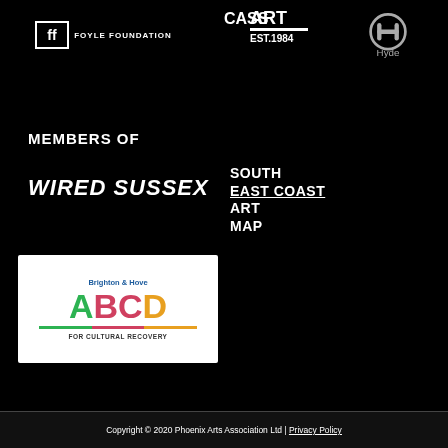[Figure (logo): Foyle Foundation logo — white square bracket icon with 'ff' and text FOYLE FOUNDATION]
[Figure (logo): Cass Art EST.1984 logo in white on black]
[Figure (logo): Hyde logo — circular H symbol in grey with text Hyde below]
MEMBERS OF
[Figure (logo): Wired Sussex logo in white bold italic text]
[Figure (logo): South East Coast Art Map logo in white bold text]
[Figure (logo): Brighton & Hove ABCD FOR CULTURAL RECOVERY logo — white box with coloured letters A (green), B (red), C (red), D (orange) and coloured underline]
Copyright © 2020 Phoenix Arts Association Ltd | Privacy Policy